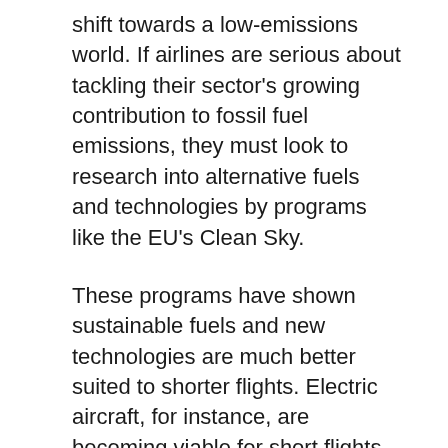shift towards a low-emissions world. If airlines are serious about tackling their sector's growing contribution to fossil fuel emissions, they must look to research into alternative fuels and technologies by programs like the EU's Clean Sky.
These programs have shown sustainable fuels and new technologies are much better suited to shorter flights. Electric aircraft, for instance, are becoming viable for short flights in the near-term future. In Sydney, electric seaplanes will soon enter the short-hop sector, while hybrid-electric technology has the potential to support flights of up to 1500km, depending on progress in battery technology.
So what about long distance? We have two options. One is hydrogen and the other is sustainable aviation fuels.